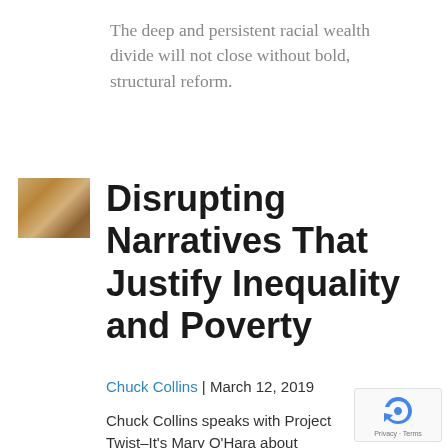The deep and persistent racial wealth divide will not close without bold, structural reform.
[Figure (photo): Small thumbnail image of an open book with golden/amber tones]
Disrupting Narratives That Justify Inequality and Poverty
Chuck Collins | March 12, 2019
Chuck Collins speaks with Project Twist–It's Mary O'Hara about